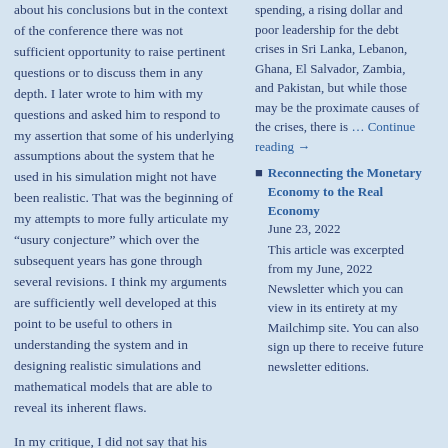about his conclusions but in the context of the conference there was not sufficient opportunity to raise pertinent questions or to discuss them in any depth. I later wrote to him with my questions and asked him to respond to my assertion that some of his underlying assumptions about the system that he used in his simulation might not have been realistic. That was the beginning of my attempts to more fully articulate my "usury conjecture" which over the subsequent years has gone through several revisions. I think my arguments are sufficiently well developed at this point to be useful to others in understanding the system and in designing realistic simulations and mathematical models that are able to reveal its inherent flaws.
In my critique, I did not say that his model was “something” but that some of the underlying...
spending, a rising dollar and poor leadership for the debt crises in Sri Lanka, Lebanon, Ghana, El Salvador, Zambia, and Pakistan, but while those may be the proximate causes of the crises, there is … Continue reading →
Reconnecting the Monetary Economy to the Real Economy June 23, 2022 This article was excerpted from my June, 2022 Newsletter which you can view in its entirety at my Mailchimp site. You can also sign up there to receive future newsletter editions.